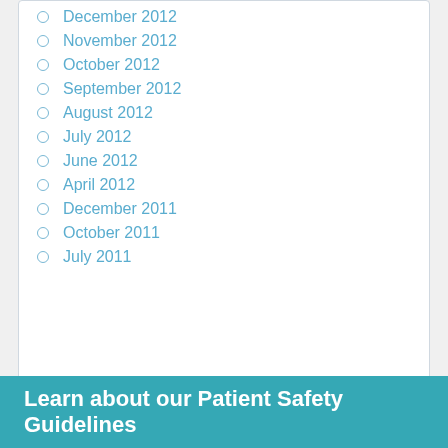December 2012
November 2012
October 2012
September 2012
August 2012
July 2012
June 2012
April 2012
December 2011
October 2011
July 2011
Learn about our Patient Safety Guidelines
Community